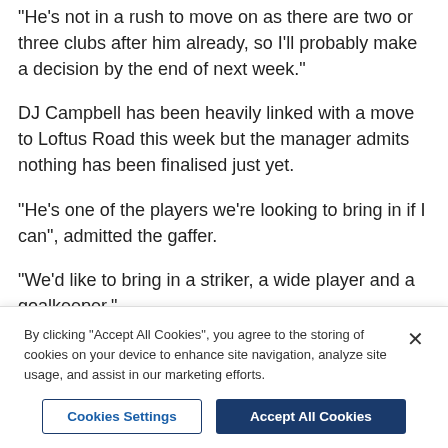“He’s not in a rush to move on as there are two or three clubs after him already, so I’ll probably make a decision by the end of next week.”
DJ Campbell has been heavily linked with a move to Loftus Road this week but the manager admits nothing has been finalised just yet.
“He’s one of the players we’re looking to bring in if I can”, admitted the gaffer.
“We’d like to bring in a striker, a wide player and a goalkeeper.”
Winger Jason Puncheon has also been linked with a
By clicking “Accept All Cookies”, you agree to the storing of cookies on your device to enhance site navigation, analyze site usage, and assist in our marketing efforts.
Cookies Settings | Accept All Cookies